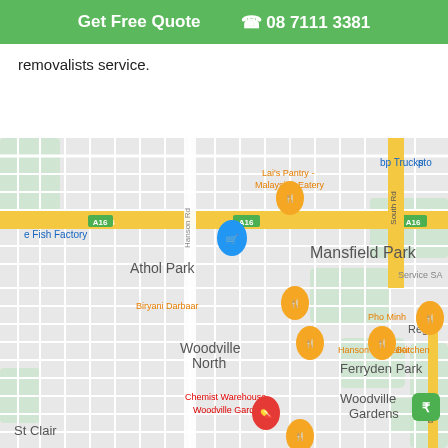Get Free Quote  📞 08 7111 3381
removalists service.
[Figure (map): Google Maps screenshot showing Mansfield Park, Athol Park, Woodville North, Ferryden Park, Woodville Gardens, St Clair areas in South Australia. Map shows road A16, Hanson Rd, South Rd, Days Rd. Restaurants and businesses marked: Lai's Pantry - Malaysian Eatery, bp Truckstop, e Fish Factory (shopping cart pin), Biryani Darbaar, Pho Minh, Hanson Pizza Bar, MaiKitchen, Chemist Warehouse Woodville Gardens, Service SA, Rege (truncated). Orange food pins, blue shopping pin, red pharmacy pin, green marker visible.]